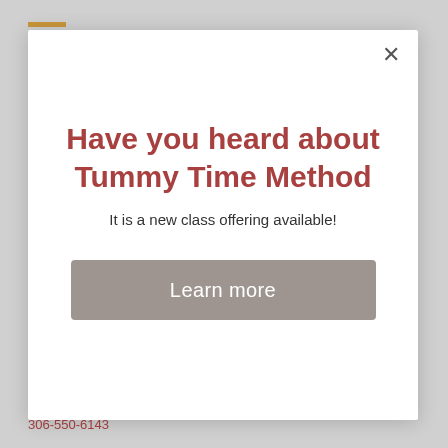Have you heard about Tummy Time Method
It is a new class offering available!
Learn more
Serving Regina SK & Area
306-550-6143